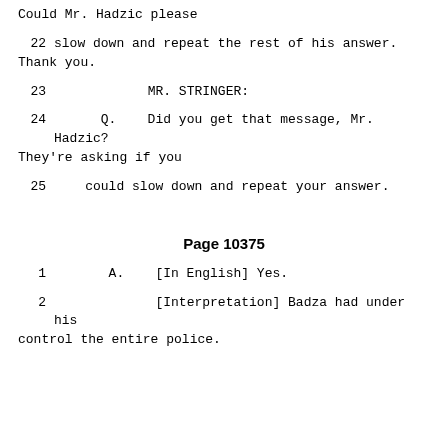Could Mr. Hadzic please
22      slow down and repeat the rest of his answer. Thank you.
23                      MR. STRINGER:
24          Q.    Did you get that message, Mr. Hadzic? They're asking if you
25      could slow down and repeat your answer.
Page 10375
1           A.    [In English] Yes.
2                 [Interpretation] Badza had under his control the entire police.